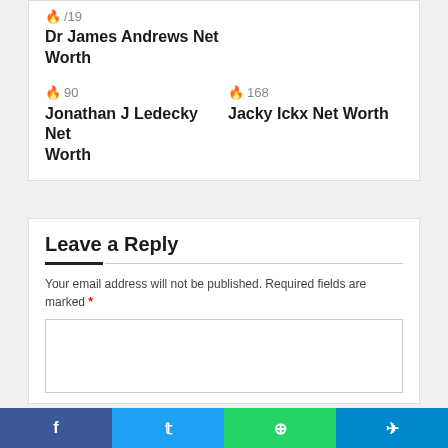🔥 /19
Dr James Andrews Net Worth
🔥 90
Jonathan J Ledecky Net Worth
🔥 168
Jacky Ickx Net Worth
Leave a Reply
Your email address will not be published. Required fields are marked *